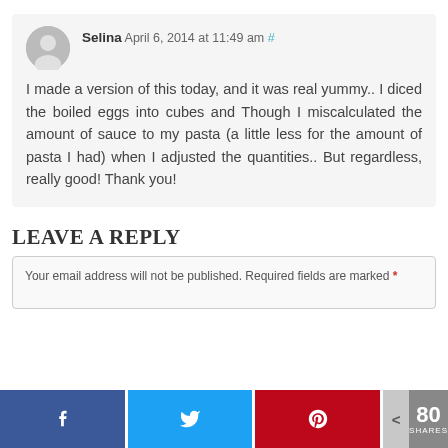Selina April 6, 2014 at 11:49 am # — I made a version of this today, and it was real yummy.. I diced the boiled eggs into cubes and Though I miscalculated the amount of sauce to my pasta (a little less for the amount of pasta I had) when I adjusted the quantities.. But regardless, really good! Thank you!
LEAVE A REPLY
Your email address will not be published. Required fields are marked *
[Figure (other): Social sharing bar with Facebook, Twitter, Pinterest buttons and share count showing 80 SHARES]